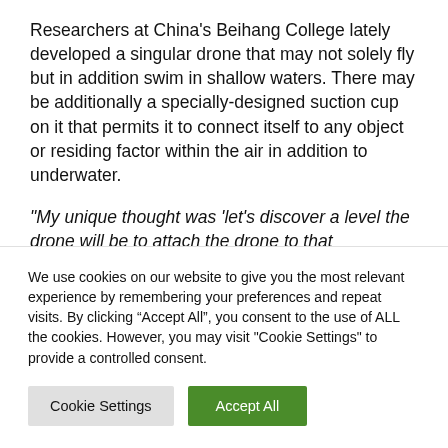Researchers at China's Beihang College lately developed a singular drone that may not solely fly but in addition swim in shallow waters. There may be additionally a specially-designed suction cup on it that permits it to connect itself to any object or residing factor within the air in addition to underwater.
“My unique thought was ‘let’s discover a level the [cut off]
We use cookies on our website to give you the most relevant experience by remembering your preferences and repeat visits. By clicking “Accept All”, you consent to the use of ALL the cookies. However, you may visit "Cookie Settings" to provide a controlled consent.